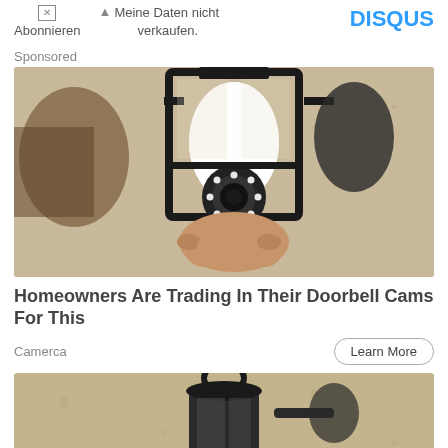Abonnieren | Meine Daten nicht verkaufen. | DISQUS
Sponsored
[Figure (photo): A security camera disguised as a light bulb installed in an outdoor lantern-style wall fixture, mounted on a textured stucco wall. A hand is holding the bulb-camera device.]
Homeowners Are Trading In Their Doorbell Cams For This
Camerca
Learn More
[Figure (photo): Bottom portion of another outdoor lantern-style wall light fixture mounted on a textured stucco wall, partially visible at the bottom of the page.]